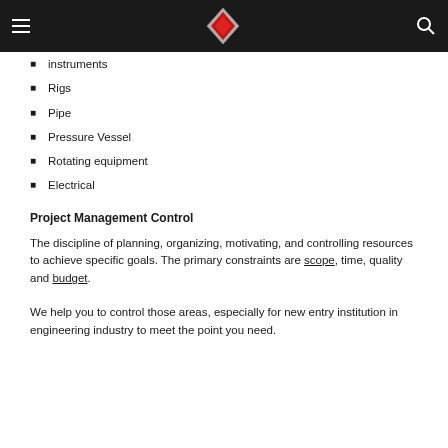[Navigation header with logo, menu icon, and search icon]
instruments
Rigs
Pipe
Pressure Vessel
Rotating equipment
Electrical
Project Management Control
The discipline of planning, organizing, motivating, and controlling resources to achieve specific goals. The primary constraints are scope, time, quality and budget.
We help you to control those areas, especially for new entry institution in engineering industry to meet the point you need.